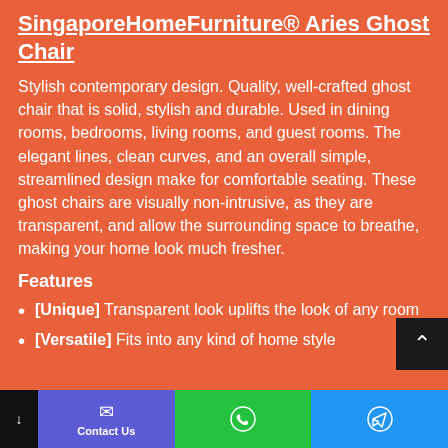SingaporeHomeFurniture® Aries Ghost Chair
Stylish contemporary design. Quality, well-crafted ghost chair that is solid, stylish and durable. Used in dining rooms, bedrooms, living rooms, and guest rooms. The elegant lines, clean curves, and an overall simple, streamlined design make for comfortable seating. These ghost chairs are visually non-intrusive, as they are transparent, and allow the surrounding space to breathe, making your home look much fresher.
Features
[Unique] Transparent look uplifts the look of any room
[Versatile] Fits into any kind of home style
Contact Us | WhatsApp | Telegram